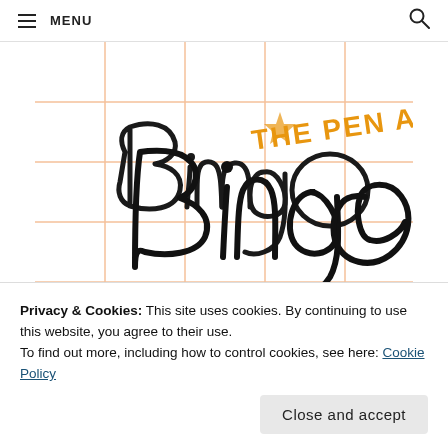MENU
[Figure (logo): The Pen Addict Bingo logo — handwritten-style 'Bingo' in black cursive lettering with 'THE PEN ADDICT' in orange uppercase text above, on a grid/graph paper background with peach/orange lines. A black bar sits at the bottom of the image.]
Privacy & Cookies: This site uses cookies. By continuing to use this website, you agree to their use.
To find out more, including how to control cookies, see here: Cookie Policy
Close and accept